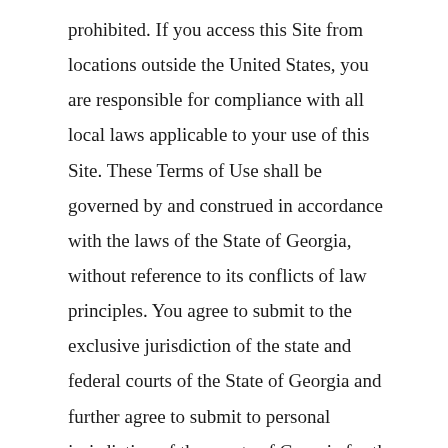prohibited. If you access this Site from locations outside the United States, you are responsible for compliance with all local laws applicable to your use of this Site. These Terms of Use shall be governed by and construed in accordance with the laws of the State of Georgia, without reference to its conflicts of law principles. You agree to submit to the exclusive jurisdiction of the state and federal courts of the State of Georgia and further agree to submit to personal jurisdiction of the courts of Georgia for the purpose of litigating any claim or action. Further, the United States Export Control Laws prohibit the export of certain technical data and software to certain territories and countries. No Content from